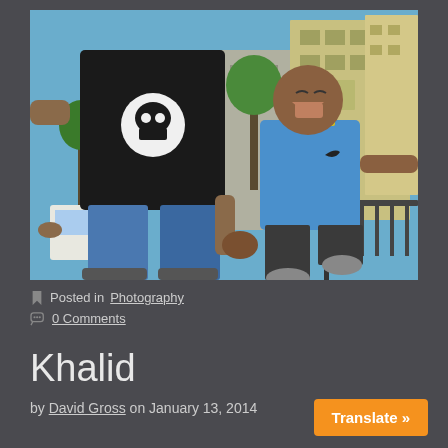[Figure (photo): A man in a black t-shirt with a white skull graphic and blue jeans holds hands with a laughing young boy in a blue t-shirt, both mid-jump in an urban street setting with apartment buildings and trees in the background.]
Posted in Photography
0 Comments
Khalid
by David Gross on January 13, 2014
Translate »